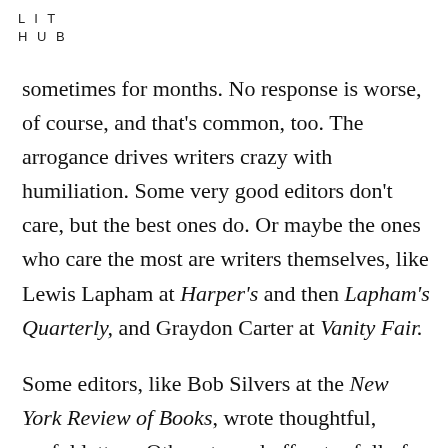LIT
HUB
sometimes for months. No response is worse, of course, and that's common, too. The arrogance drives writers crazy with humiliation. Some very good editors don't care, but the best ones do. Or maybe the ones who care the most are writers themselves, like Lewis Lapham at Harper's and then Lapham's Quarterly, and Graydon Carter at Vanity Fair.
Some editors, like Bob Silvers at the New York Review of Books, wrote thoughtful, useful letters. Others tossed off notes full of veiled irony that was easily misunderstood, often beginning or